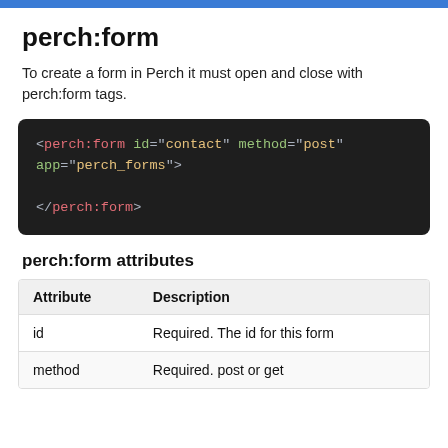perch:form
To create a form in Perch it must open and close with perch:form tags.
[Figure (screenshot): Code block showing: <perch:form id="contact" method="post" app="perch_forms">  </perch:form>]
perch:form attributes
| Attribute | Description |
| --- | --- |
| id | Required. The id for this form |
| method | Required. post or get |